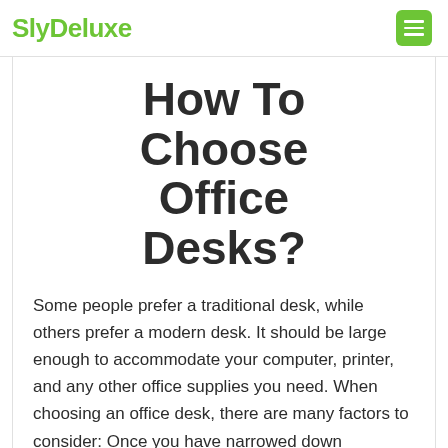SlyDeluxe
How To Choose Office Desks?
Some people prefer a traditional desk, while others prefer a modern desk. It should be large enough to accommodate your computer, printer, and any other office supplies you need. When choosing an office desk, there are many factors to consider: Once you have narrowed down